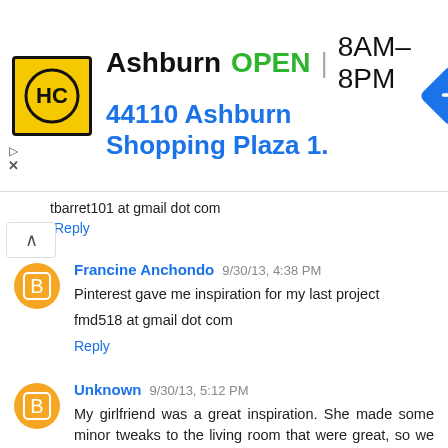[Figure (infographic): Advertisement banner for HC store in Ashburn. Shows HC logo (yellow square with HC letters), store name 'Ashburn', green 'OPEN' text, hours '8AM-8PM', and address '44110 Ashburn Shopping Plaza 1.' with a blue navigation arrow icon.]
tbarret101 at gmail dot com
Reply
Francine Anchondo 9/30/13, 4:38 PM
Pinterest gave me inspiration for my last project
fmd518 at gmail dot com
Reply
Unknown 9/30/13, 5:12 PM
My girlfriend was a great inspiration. She made some minor tweaks to the living room that were great, so we decided to go ahead and change the color and update the look. lexbaylor17 at gmail